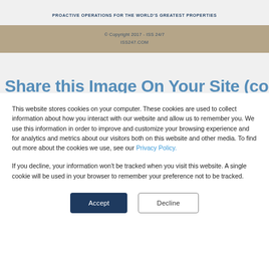PROACTIVE OPERATIONS FOR THE WORLD'S GREATEST PROPERTIES
© Copyright 2017 - ISS 24/7
ISS247.COM
Share this Image On Your Site (copy...
This website stores cookies on your computer. These cookies are used to collect information about how you interact with our website and allow us to remember you. We use this information in order to improve and customize your browsing experience and for analytics and metrics about our visitors both on this website and other media. To find out more about the cookies we use, see our Privacy Policy.
If you decline, your information won't be tracked when you visit this website. A single cookie will be used in your browser to remember your preference not to be tracked.